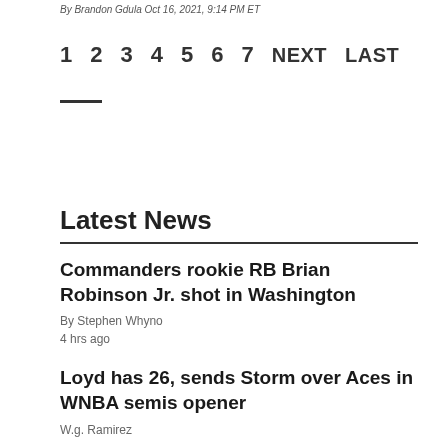By Brandon Gdula Oct 16, 2021, 9:14 PM ET
1  2  3  4  5  6  7  NEXT  LAST
Latest News
Commanders rookie RB Brian Robinson Jr. shot in Washington
By Stephen Whyno
4 hrs ago
Loyd has 26, sends Storm over Aces in WNBA semis opener
W.g. Ramirez